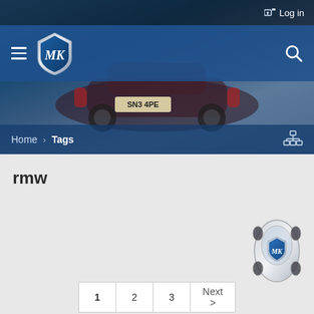🔑 Log in
[Figure (screenshot): MK car club website header with blue navigation bar, hamburger menu, MK shield logo, and search icon. Background shows a dark blue/maroon car rear view with license plate SN3 4PE.]
Home > Tags
rmw
[Figure (logo): Small MK car club logo - top-down view of a white/silver car with MK shield emblem]
| 1 | 2 | 3 | Next > |